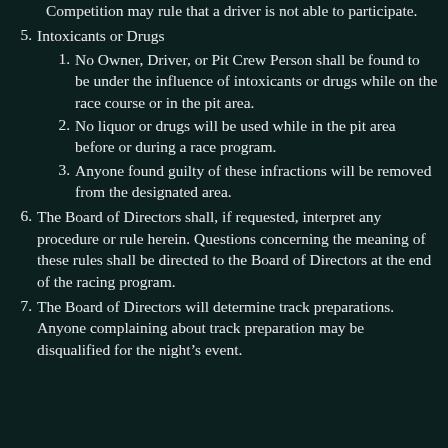Competition may rule that a driver is not able to participate.
5. Intoxicants or Drugs
1. No Owner, Driver, or Pit Crew Person shall be found to be under the influence of intoxicants or drugs while on the race course or in the pit area.
2. No liquor or drugs will be used while in the pit area before or during a race program.
3. Anyone found guilty of these infractions will be removed from the designated area.
6. The Board of Directors shall, if requested, interpret any procedure or rule herein. Questions concerning the meaning of these rules shall be directed to the Board of Directors at the end of the racing program.
7. The Board of Directors will determine track preparations. Anyone complaining about track preparation may be disqualified for the night’s event.